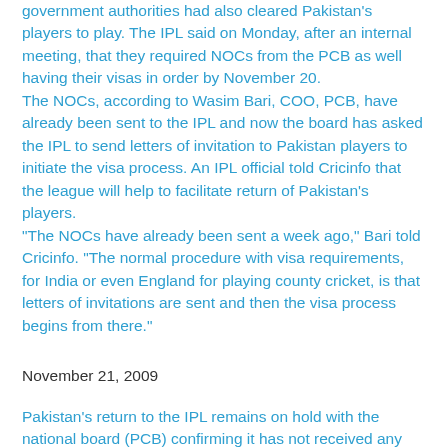government authorities had also cleared Pakistan's players to play. The IPL said on Monday, after an internal meeting, that they required NOCs from the PCB as well having their visas in order by November 20. The NOCs, according to Wasim Bari, COO, PCB, have already been sent to the IPL and now the board has asked the IPL to send letters of invitation to Pakistan players to initiate the visa process. An IPL official told Cricinfo that the league will help to facilitate return of Pakistan's players. "The NOCs have already been sent a week ago," Bari told Cricinfo. "The normal procedure with visa requirements, for India or even England for playing county cricket, is that letters of invitations are sent and then the visa process begins from there."
November 21, 2009
Pakistan's return to the IPL remains on hold with the national board (PCB) confirming it has not received any letters of invitation from the tournament organisers to its players to initiate the visa process. The deadline set by the IPL for